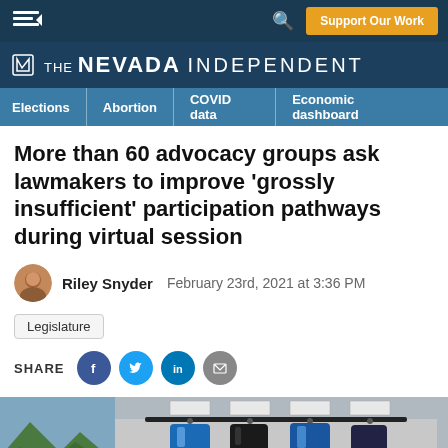The Nevada Independent — Support Our Work
More than 60 advocacy groups ask lawmakers to improve 'grossly insufficient' participation pathways during virtual session
Riley Snyder   February 23rd, 2021 at 3:36 PM
Legislature
SHARE
[Figure (photo): Photo showing bags hanging on hooks in what appears to be a legislative chamber or public space, with small signs above them. A smaller landscape photo is partially visible on the left.]